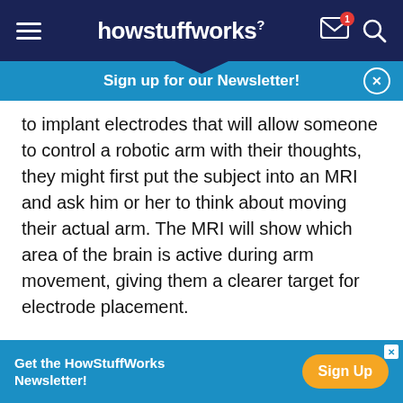howstuffworks
Sign up for our Newsletter!
to implant electrodes that will allow someone to control a robotic arm with their thoughts, they might first put the subject into an MRI and ask him or her to think about moving their actual arm. The MRI will show which area of the brain is active during arm movement, giving them a clearer target for electrode placement.
So, what are the real-life uses of a BCI? Read on to find out the possibilities.
Get the HowStuffWorks Newsletter! Sign Up